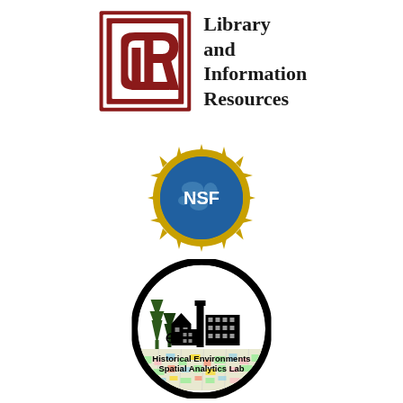[Figure (logo): CLR Library and Information Resources logo - red square with CLR letters alongside text reading 'Library and Information Resources']
[Figure (logo): NSF (National Science Foundation) logo - circular emblem with globe and gold gear/snowflake border with NSF text]
[Figure (logo): Historical Environments Spatial Analytics Lab circular logo with black silhouette of buildings, trees, chimney and colorful map imagery at bottom]